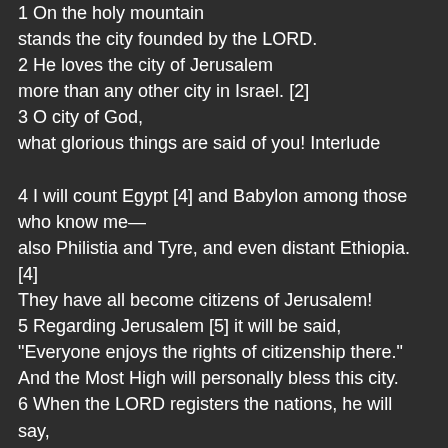1 On the holy mountain
stands the city founded by the LORD.
2 He loves the city of Jerusalem
more than any other city in Israel. [2]
3 O city of God,
what glorious things are said of you! Interlude

4 I will count Egypt [4] and Babylon among those who know me—
also Philistia and Tyre, and even distant Ethiopia. [4]
They have all become citizens of Jerusalem!
5 Regarding Jerusalem [5] it will be said,
"Everyone enjoys the rights of citizenship there."
And the Most High will personally bless this city.
6 When the LORD registers the nations, he will say,
"They have all become citizens of Jerusalem." Interlude